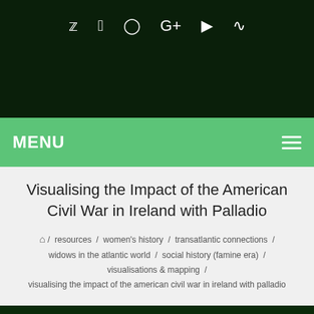Social icons: Twitter, Facebook, Instagram, Google+, YouTube, RSS
MENU
Visualising the Impact of the American Civil War in Ireland with Palladio
/ resources / women's history / transatlantic connections / widows in the atlantic world / social history (famine era) / visualisations & mapping / visualising the impact of the american civil war in ireland with palladio